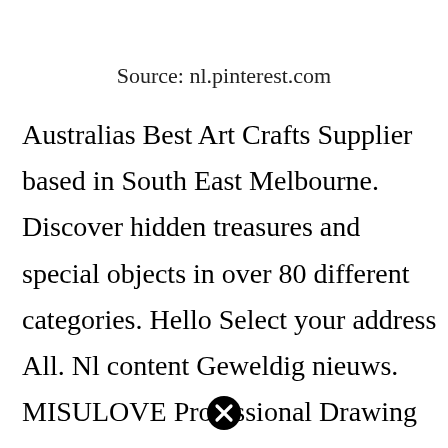Source: nl.pinterest.com
Australias Best Art Crafts Supplier based in South East Melbourne. Discover hidden treasures and special objects in over 80 different categories. Hello Select your address All. Nl content Geweldig nieuws. MISULOVE Professional Drawing Sketching Pencil Set – 12 Pieces Art Drawing Graphite Pencils12B – 4H Ideal for Drawing Art Sketching. Advertentie Our 200 experts carefully selected…